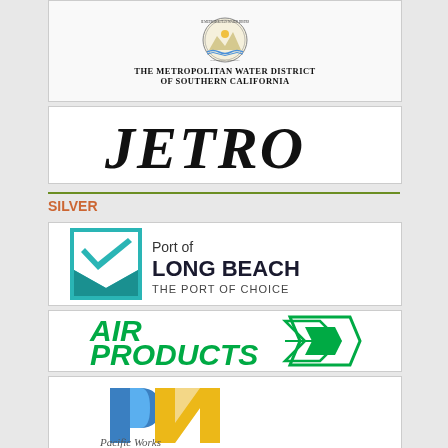[Figure (logo): The Metropolitan Water District of Southern California seal and text logo]
[Figure (logo): JETRO logo in bold italic serif font]
SILVER
[Figure (logo): Port of Long Beach - The Port of Choice logo with teal geometric icon]
[Figure (logo): Air Products logo with green text and stylized arrow icon]
[Figure (logo): PN logo with blue and yellow geometric shapes and cursive text below]